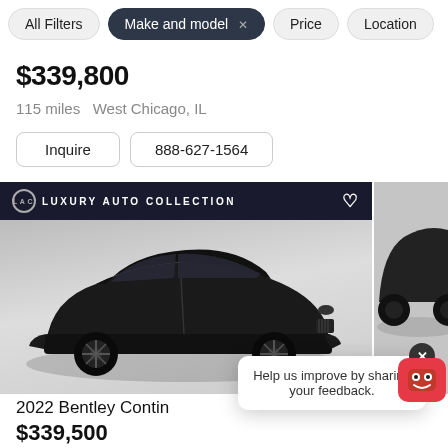All Filters | Make and model × | Price | Location
$339,800
115 miles  West Chicago, IL
Inquire   888-627-1564
[Figure (photo): Black 2022 Bentley Continental GT photographed in showroom against grey background, with Luxury Auto Collection dealer banner at top]
2022 Bentley Contin
$339,500
Help us improve by sharing your feedback.